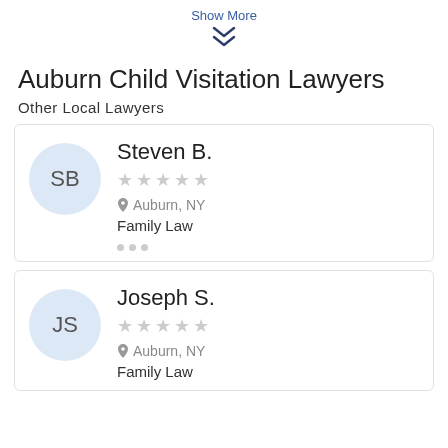Show More
❯❯ (chevron down icon)
Auburn Child Visitation Lawyers
Other Local Lawyers
Steven B. | ☆☆☆☆☆ | Auburn, NY | Family Law
Joseph S. | ☆☆☆☆☆ | Auburn, NY | Family Law